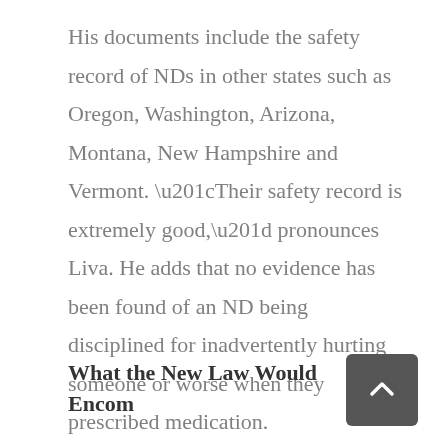His documents include the safety record of NDs in other states such as Oregon, Washington, Arizona, Montana, New Hampshire and Vermont. “Their safety record is extremely good,” pronounces Liva. He adds that no evidence has been found of an ND being disciplined for inadvertently hurting someone or worse when they prescribed medication.
What the New Law Would Encom…